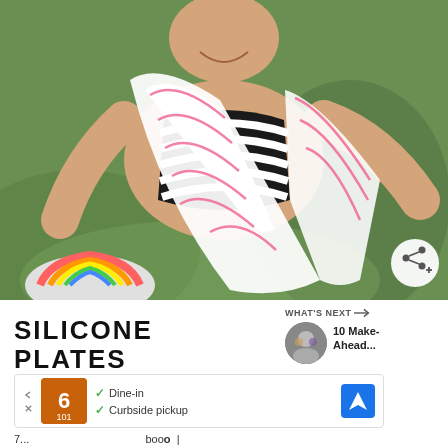[Figure (photo): Woman smiling outdoors, wearing black and white striped swimsuit and holding a white blanket with pink stripes. Green grass background. Share button overlay at bottom right.]
WHAT'S NEXT → 10 Make-Ahead...
SILICONE PLATES
[Figure (infographic): Advertisement banner showing logo, checkmarks for Dine-in and Curbside pickup, and a blue navigation icon.]